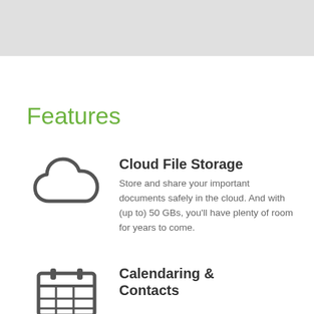Features
[Figure (illustration): Cloud icon — outline of a cloud shape in dark gray]
Cloud File Storage
Store and share your important documents safely in the cloud. And with (up to) 50 GBs, you'll have plenty of room for years to come.
[Figure (illustration): Calendar icon — outline of a calendar with grid lines in dark gray]
Calendaring & Contacts